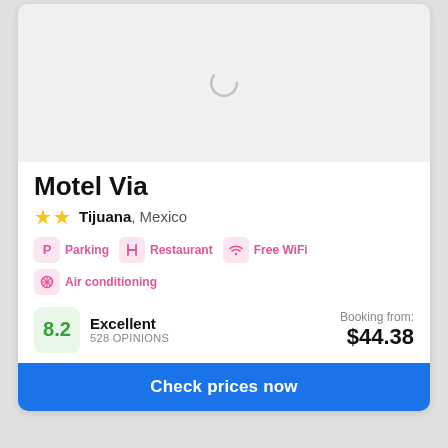[Figure (photo): Loading placeholder image area with a spinner icon, light gray background]
Motel Via
★★ Tijuana, Mexico
Parking   Restaurant   Free WiFi   Air conditioning
8.2  Excellent  528 OPINIONS  Booking from: $44.38
Check prices now